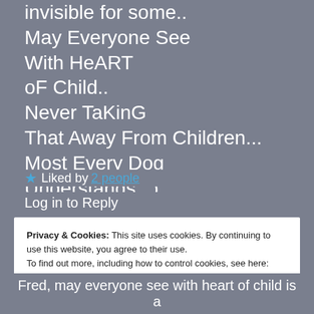invisible for some..
May Everyone See
With HeART
oF Child..
Never TaKinG
That Away From Children...
Most Every Dog Understands..:)
★ Liked by 2 people
Log in to Reply
Privacy & Cookies: This site uses cookies. By continuing to use this website, you agree to their use.
To find out more, including how to control cookies, see here: Cookie Policy
Close and accept
Fred, may everyone see with heart of child is a